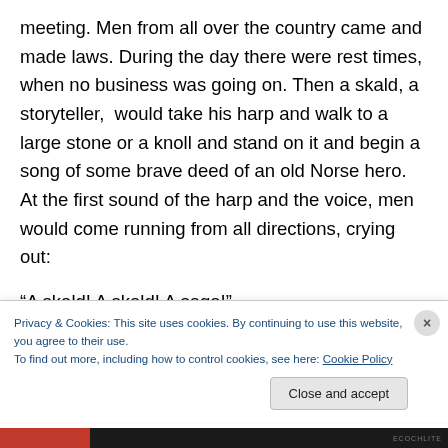meeting. Men from all over the country came and made laws. During the day there were rest times, when no business was going on. Then a skald, a storyteller,  would take his harp and walk to a large stone or a knoll and stand on it and begin a song of some brave deed of an old Norse hero. At the first sound of the harp and the voice, men would come running from all directions, crying out:
“A skald! A skald! A saga!”
There they would stand for hours listening and shouting
Privacy & Cookies: This site uses cookies. By continuing to use this website, you agree to their use.
To find out more, including how to control cookies, see here: Cookie Policy